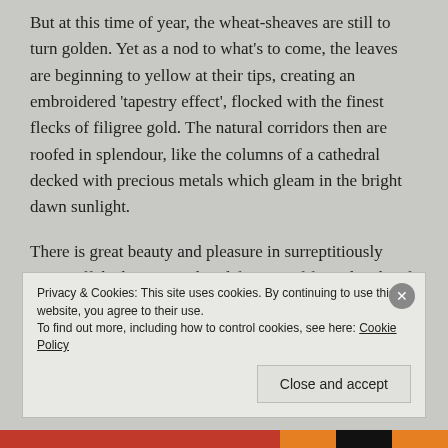But at this time of year, the wheat-sheaves are still to turn golden. Yet as a nod to what's to come, the leaves are beginning to yellow at their tips, creating an embroidered 'tapestry effect', flocked with the finest flecks of filigree gold. The natural corridors then are roofed in splendour, like the columns of a cathedral decked with precious metals which gleam in the bright dawn sunlight.
There is great beauty and pleasure in surreptitiously going off the beaten track in life; even if for only a brief minute or two. But one word of advice however… Just don't get caught!
Enjoy the day and thanks for reading,
Privacy & Cookies: This site uses cookies. By continuing to use this website, you agree to their use. To find out more, including how to control cookies, see here: Cookie Policy